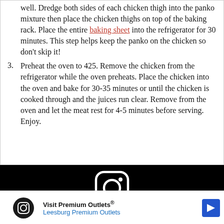Dredge both sides of each chicken thigh into the panko mixture then place the chicken thighs on top of the baking rack. Place the entire baking sheet into the refrigerator for 30 minutes. This step helps keep the panko on the chicken so don't skip it!
3. Preheat the oven to 425. Remove the chicken from the refrigerator while the oven preheats. Place the chicken into the oven and bake for 30-35 minutes or until the chicken is cooked through and the juices run clear. Remove from the oven and let the meat rest for 4-5 minutes before serving. Enjoy.
[Figure (logo): Instagram logo icon in white on black background, with DID YOU MAKE THIS RECIPE? text below]
Visit Premium Outlets® Leesburg Premium Outlets